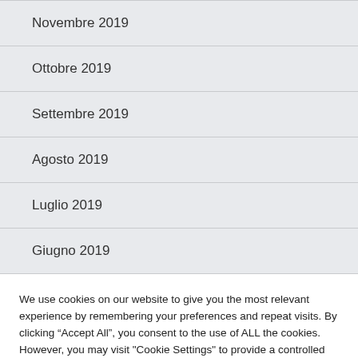Novembre 2019
Ottobre 2019
Settembre 2019
Agosto 2019
Luglio 2019
Giugno 2019
We use cookies on our website to give you the most relevant experience by remembering your preferences and repeat visits. By clicking “Accept All”, you consent to the use of ALL the cookies. However, you may visit “Cookie Settings” to provide a controlled consent.
Cookie Settings | Accept All